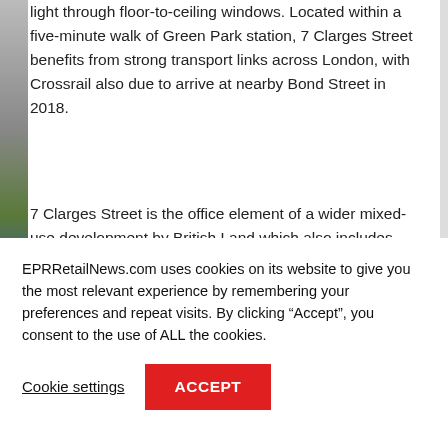light through floor-to-ceiling windows. Located within a five-minute walk of Green Park station, 7 Clarges Street benefits from strong transport links across London, with Crossrail also due to arrive at nearby Bond Street in 2018.
7 Clarges Street is the office element of a wider mixed-use development by British Land which also includes Clarges Mayfair, a luxury residential address of 34 new homes on the edge of Green Park. Due for completion later this year, 23 apartments at Clarges Mayfair have now been sold, some at record-breaking values. The
EPRRetailNews.com uses cookies on its website to give you the most relevant experience by remembering your preferences and repeat visits. By clicking “Accept”, you consent to the use of ALL the cookies.
Cookie settings
ACCEPT